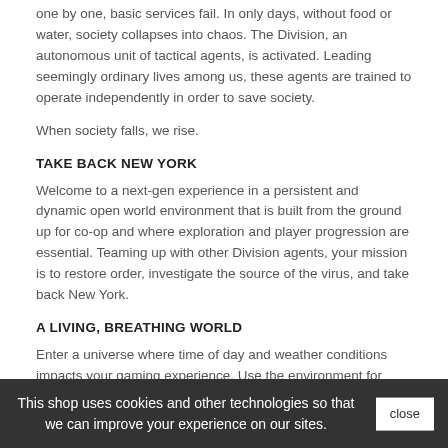one by one, basic services fail. In only days, without food or water, society collapses into chaos. The Division, an autonomous unit of tactical agents, is activated. Leading seemingly ordinary lives among us, these agents are trained to operate independently in order to save society.
When society falls, we rise.
TAKE BACK NEW YORK
Welcome to a next-gen experience in a persistent and dynamic open world environment that is built from the ground up for co-op and where exploration and player progression are essential. Teaming up with other Division agents, your mission is to restore order, investigate the source of the virus, and take back New York.
A LIVING, BREATHING WORLD
Enter a universe where time of day and weather conditions impacts your gaming experience. Use the environment for strategic advantage to dominate fights and ambush your enemies. Utilize your gas mask to provide protection from the virus, and upgrade it to enter the most highly contaminated areas.
URBAN JUNGLE
This shop uses cookies and other technologies so that we can improve your experience on our sites.
This is New York, advantage the crisis. Beware of the thugs who roam in packs through the city, preying on